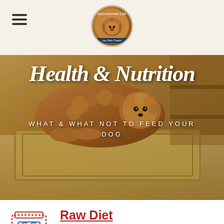[Figure (logo): RedTeddyPup.com circular logo with dog image and tagline 'Les Pets Treats!']
[Figure (photo): A fluffy brown/red teddy bear poodle dog lying on a patterned rug with wooden shelves in the background. Hero banner image.]
Health & Nutrition
WHAT & WHAT NOT TO FEED YOUR DOG
[Figure (illustration): Blue and red line art icon of a dog food bag]
Raw Diet
RedTeddy Pups serves our dogs a wholesome, semi-raw dog food diet. If you are serious about following a raw food diet, check out these